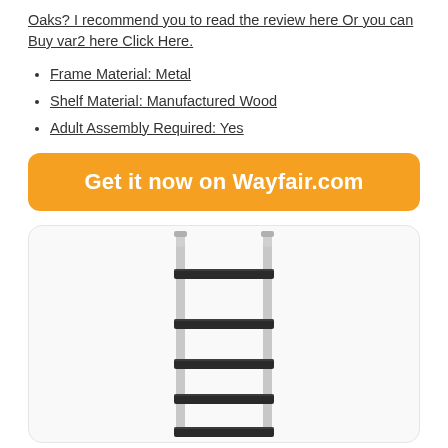Oaks? I recommend you to read the review here Or you can Buy var2 here Click Here.
Frame Material: Metal
Shelf Material: Manufactured Wood
Adult Assembly Required: Yes
Get it now on Wayfair.com
[Figure (photo): Product image of a metal and manufactured wood 5-shelf bookcase/shelving unit with silver metal frame and dark gray shelves, shown against white background inside a rounded rectangle card.]